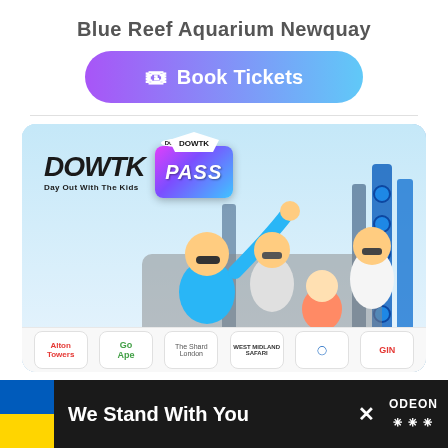Blue Reef Aquarium Newquay
[Figure (illustration): Book Tickets button with gradient background from purple to light blue]
[Figure (photo): Family on roller coaster ride with DOWTK (Day Out With The Kids) PASS card logo overlay, partner logos strip at bottom including Alton Towers, Go Ape, and others]
We Stand With You